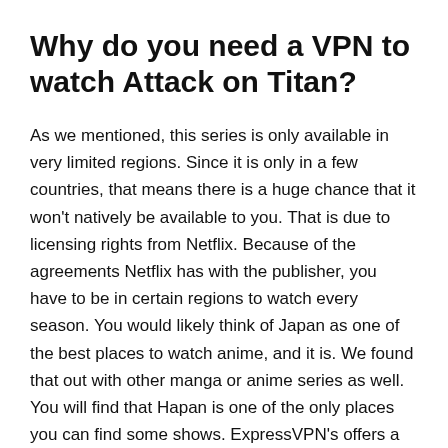Why do you need a VPN to watch Attack on Titan?
As we mentioned, this series is only available in very limited regions. Since it is only in a few countries, that means there is a huge chance that it won't natively be available to you. That is due to licensing rights from Netflix. Because of the agreements Netflix has with the publisher, you have to be in certain regions to watch every season. You would likely think of Japan as one of the best places to watch anime, and it is. We found that out with other manga or anime series as well. You will find that Hapan is one of the only places you can find some shows. ExpressVPN's offers a number of server locations in the country for easy access to Netflix.
By using ExpressVPN, it will help you take care of the geo...